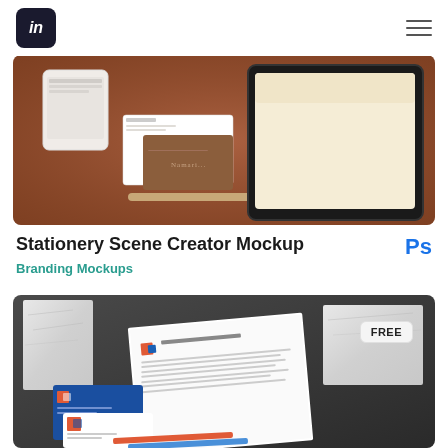im (logo) [hamburger menu]
[Figure (photo): Stationery scene mockup on a copper/brown background showing phone, business cards, letterhead, pen and tablet devices arranged flatlay style]
Stationery Scene Creator Mockup
Ps
Branding Mockups
[Figure (photo): Corporate stationery mockup on dark background with marble elements showing business cards, letterhead document with red logo, and pencils, with FREE badge in upper right corner]